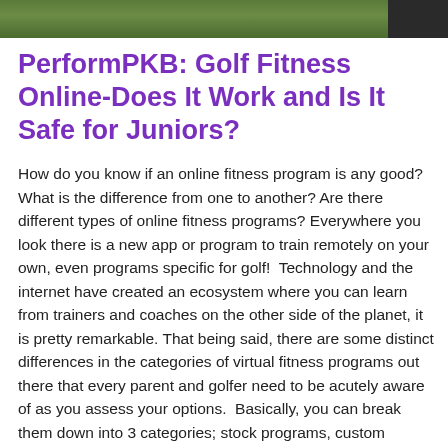[Figure (photo): Partial photo strip at top of page showing green outdoor/nature scene with dark element at right]
PerformPKB: Golf Fitness Online-Does It Work and Is It Safe for Juniors?
How do you know if an online fitness program is any good? What is the difference from one to another? Are there different types of online fitness programs? Everywhere you look there is a new app or program to train remotely on your own, even programs specific for golf!  Technology and the internet have created an ecosystem where you can learn from trainers and coaches on the other side of the planet, it is pretty remarkable. That being said, there are some distinct differences in the categories of virtual fitness programs out there that every parent and golfer need to be acutely aware of as you assess your options.  Basically, you can break them down into 3 categories; stock programs, custom programs, and “betweeners.” The rest of this article will help to outline the landscape of online training and help you to decide what type might be best for [...]